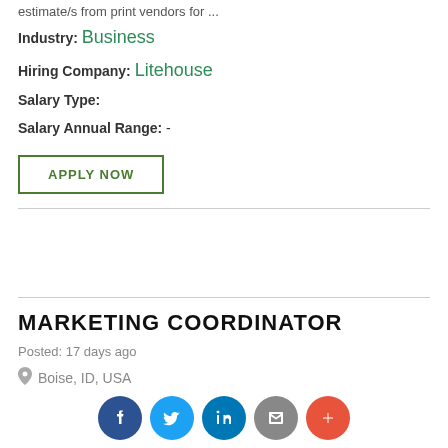estimate/s from print vendors for ...
Industry: Business
Hiring Company: Litehouse
Salary Type:
Salary Annual Range: -
APPLY NOW
MARKETING COORDINATOR
Posted: 17 days ago
Boise, ID, USA